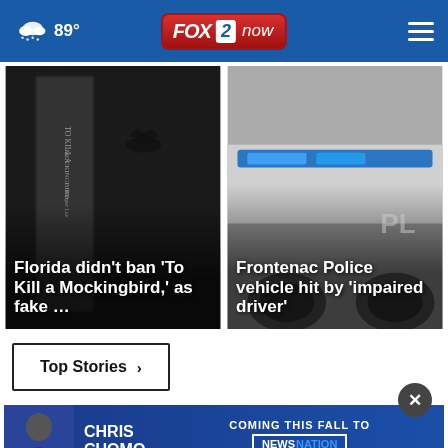89° FOX 2 now
[Figure (photo): Book cover 'To Kill a Mockingbird' by Harper Lee with bird shadow]
Florida didn't ban 'To Kill a Mockingbird,' as fake ...
[Figure (photo): Frontenac Police vehicle close-up showing blue light bar]
Frontenac Police vehicle hit by 'impaired driver'
Top Stories ›
[Figure (photo): Chris Cuomo Coming This Fall to NewsNation advertisement banner]